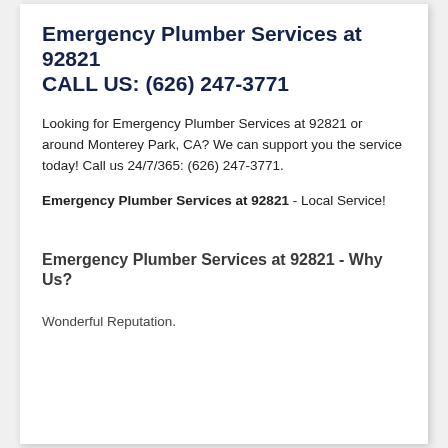Emergency Plumber Services at 92821
CALL US: (626) 247-3771
Looking for Emergency Plumber Services at 92821 or around Monterey Park, CA? We can support you the service today! Call us 24/7/365: (626) 247-3771.
Emergency Plumber Services at 92821 - Local Service!
Emergency Plumber Services at 92821 - Why Us?
Wonderful Reputation.